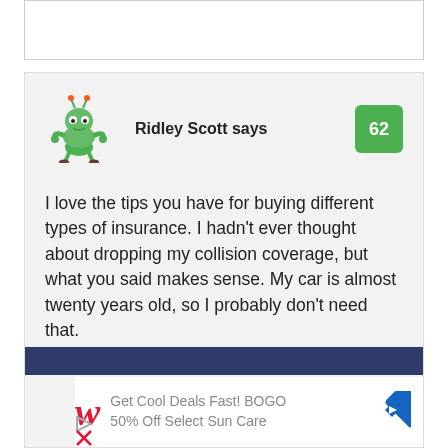Ridley Scott says
62
I love the tips you have for buying different types of insurance. I hadn't ever thought about dropping my collision coverage, but what you said makes sense. My car is almost twenty years old, so I probably don't need that.
[Figure (other): Advertisement banner: Walgreens logo with text 'Get Cool Deals Fast! BOGO 50% Off Select Sun Care' and a diamond-shaped navigation icon]